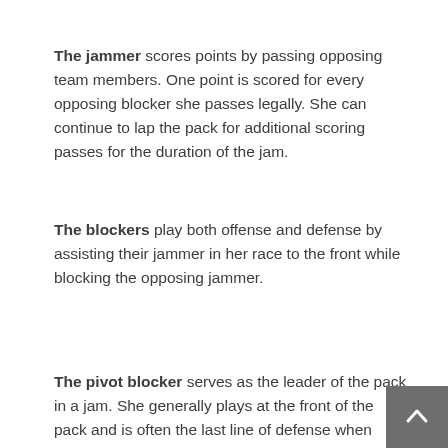The jammer scores points by passing opposing team members. One point is scored for every opposing blocker she passes legally. She can continue to lap the pack for additional scoring passes for the duration of the jam.
The blockers play both offense and defense by assisting their jammer in her race to the front while blocking the opposing jammer.
The pivot blocker serves as the leader of the pack in a jam. She generally plays at the front of the pack and is often the last line of defense when stopping opposing jammer from breaking...